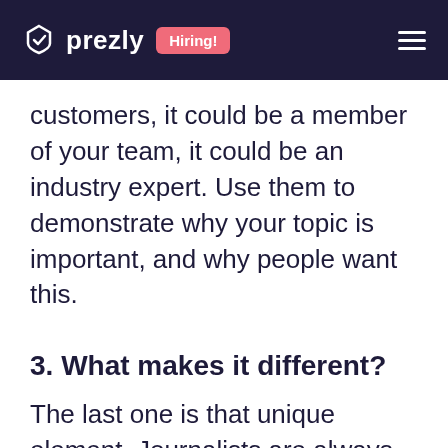prezly  Hiring!
customers, it could be a member of your team, it could be an industry expert. Use them to demonstrate why your topic is important, and why people want this.
3. What makes it different?
The last one is that unique element. Journalists are always looking to find out what's different about this story